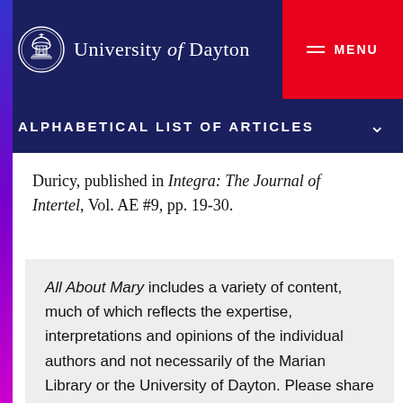University of Dayton — MENU
ALPHABETICAL LIST OF ARTICLES
Duricy, published in Integra: The Journal of Intertel, Vol. AE #9, pp. 19-30.
All About Mary includes a variety of content, much of which reflects the expertise, interpretations and opinions of the individual authors and not necessarily of the Marian Library or the University of Dayton. Please share feedback or suggestions with marianlibrary@udayton.edu.